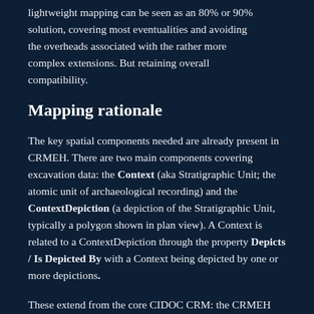lightweight mapping can be seen as an 80% or 90% solution, covering most eventualities and avoiding the overheads associated with the rather more complex extensions. But retaining overall compatibility.
Mapping rationale
The key spatial components needed are already present in CRMEH. There are two main components covering excavation data: the Context (aka Stratigraphic Unit; the atomic unit of archaeological recording) and the ContextDepiction (a depiction of the Stratigraphic Unit, typically a polygon shown in plan view). A Context is related to a ContextDepiction through the property Depicts / Is Depicted By with a Context being depicted by one or more depictions.
These extend from the core CIDOC CRM: the CRMEH class